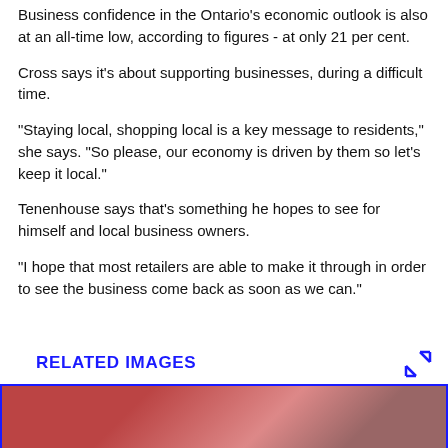Business confidence in the Ontario's economic outlook is also at an all-time low, according to figures - at only 21 per cent.
Cross says it's about supporting businesses, during a difficult time.
"Staying local, shopping local is a key message to residents," she says. "So please, our economy is driven by them so let's keep it local."
Tenenhouse says that's something he hopes to see for himself and local business owners.
"I hope that most retailers are able to make it through in order to see the business come back as soon as we can."
RELATED IMAGES
[Figure (photo): A partially visible photo below the Related Images section header, with a blue border frame.]